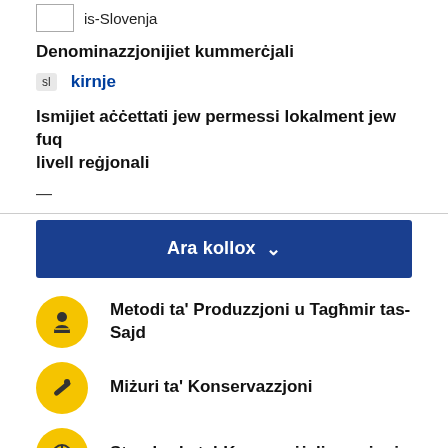is-Slovenja
Denominazzjonijiet kummerċjali
sl  kirnje
Ismijiet aċċettati jew permessi lokalment jew fuq livell reġjonali
—
Ara kollox
Metodi ta' Produzzjoni u Tagħmir tas-Sajd
Miżuri ta' Konservazzjoni
Standards tal-Kummerċjalizzazzjoni